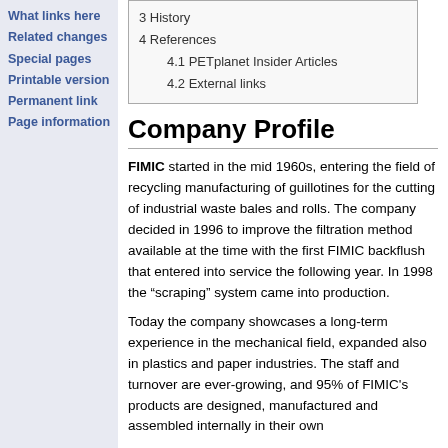What links here
Related changes
Special pages
Printable version
Permanent link
Page information
| 3 History |
| 4 References |
| 4.1 PETplanet Insider Articles |
| 4.2 External links |
Company Profile
FIMIC started in the mid 1960s, entering the field of recycling manufacturing of guillotines for the cutting of industrial waste bales and rolls. The company decided in 1996 to improve the filtration method available at the time with the first FIMIC backflush that entered into service the following year. In 1998 the “scraping” system came into production.
Today the company showcases a long-term experience in the mechanical field, expanded also in plastics and paper industries. The staff and turnover are ever-growing, and 95% of FIMIC's products are designed, manufactured and assembled internally in their own